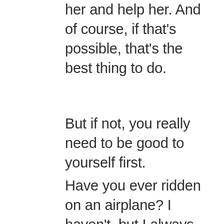her and help her. And of course, if that's possible, that's the best thing to do.
But if not, you really need to be good to yourself first.
Have you ever ridden on an airplane? I haven't, but I always hear about the flight attendants saying that, if the oxygen masks drop, you need to put yours on yourself first, before you help